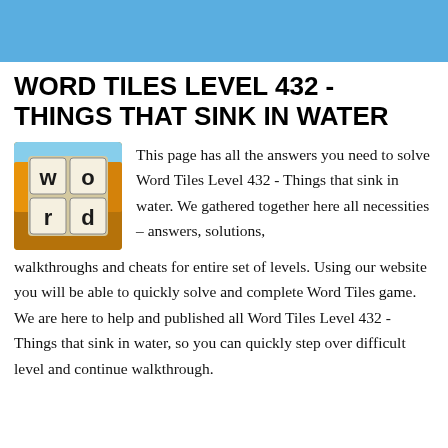WORD TILES LEVEL 432 - THINGS THAT SINK IN WATER
[Figure (logo): Word Tiles game logo showing a 2x2 grid of letter tiles spelling W, O, R, D on an autumn outdoor background]
This page has all the answers you need to solve Word Tiles Level 432 - Things that sink in water. We gathered together here all necessities – answers, solutions, walkthroughs and cheats for entire set of levels. Using our website you will be able to quickly solve and complete Word Tiles game. We are here to help and published all Word Tiles Level 432 - Things that sink in water, so you can quickly step over difficult level and continue walkthrough.